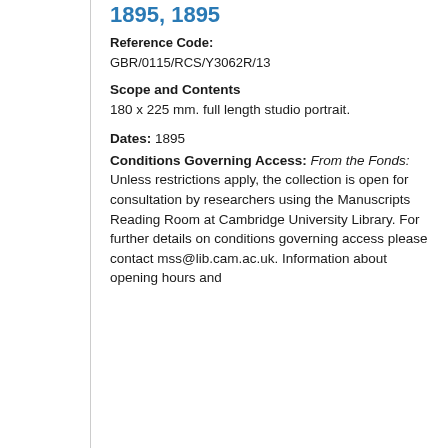1895, 1895
Reference Code: GBR/0115/RCS/Y3062R/13
Scope and Contents
180 x 225 mm. full length studio portrait.
Dates: 1895
Conditions Governing Access: From the Fonds: Unless restrictions apply, the collection is open for consultation by researchers using the Manuscripts Reading Room at Cambridge University Library. For further details on conditions governing access please contact mss@lib.cam.ac.uk. Information about opening hours and